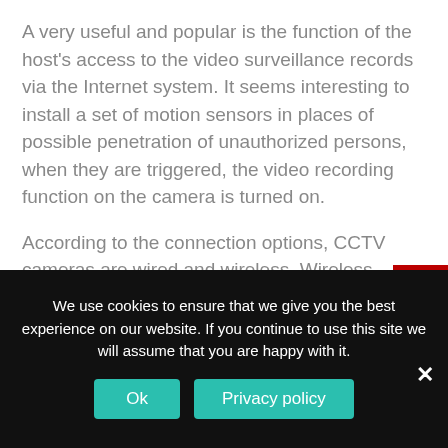A very useful and popular is the function of the host's access to the video surveillance records via the Internet system. It seems interesting to install a set of motion sensors in places of possible penetration of unauthorized persons, when they are triggered, the video recording function on the camera is turned on.
According to the connection options, CCTV cameras are wired and wireless. Wireless systems are considered more advanced and easy to install.
Where are the surveillance cameras
We use cookies to ensure that we give you the best experience on our website. If you continue to use this site we will assume that you are happy with it.